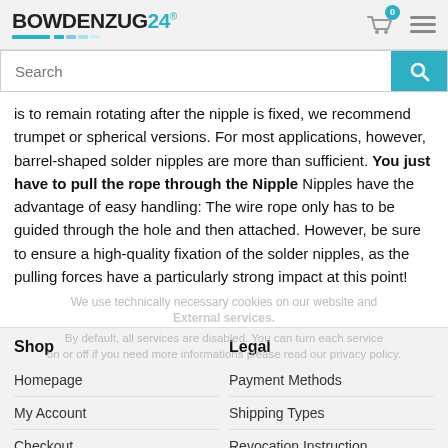BOWDENZUG24
is to remain rotating after the nipple is fixed, we recommend trumpet or spherical versions. For most applications, however, barrel-shaped solder nipples are more than sufficient. You just have to pull the rope through the Nipple Nipples have the advantage of easy handling: The wire rope only has to be guided through the hole and then attached. However, be sure to ensure a high-quality fixation of the solder nipples, as the pulling forces have a particularly strong impact at this point!
We use technically necessary cookies on our website and External services. By default, all services are disabled. You can turn each service on or off if you need more informations please read our privacy policy. Customize
Shop
Legal
Homepage
Payment Methods
My Account
Shipping Types
Checkout
Revocation Instruction
Imprint
Terms and Conditions